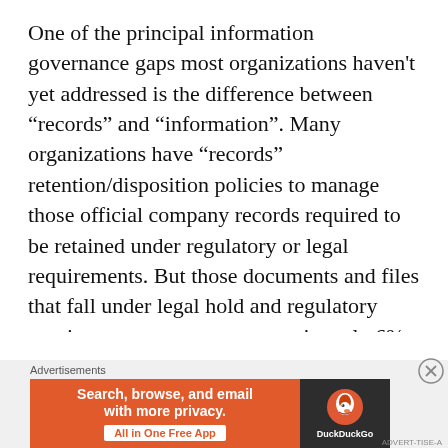One of the principal information governance gaps most organizations haven't yet addressed is the difference between “records” and “information”. Many organizations have “records” retention/disposition policies to manage those official company records required to be retained under regulatory or legal requirements. But those documents and files that fall under legal hold and regulatory requirements amount to approximately 6% of an organization’s retained electronic data (1% legal hold and 5% regulatory).
[Figure (other): DuckDuckGo advertisement banner: orange background with text 'Search, browse, and email with more privacy. All in One Free App' and DuckDuckGo logo on dark background.]